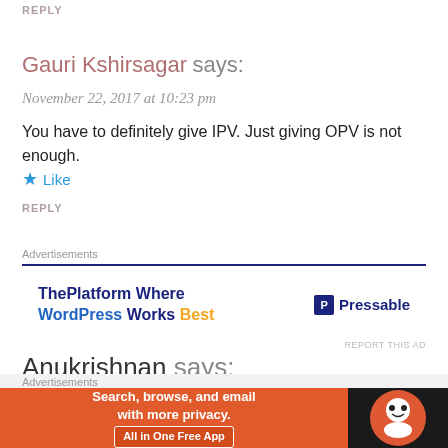REPLY
Gauri Kshirsagar says:
November 22, 2017 at 10:23 pm
You have to definitely give IPV. Just giving OPV is not enough.
★ Like
REPLY
[Figure (other): Advertisement banner for Pressable hosting - ThePlatform Where WordPress Works Best]
Anukrishnan says:
October 1, 2017 at 11:12 pm
Dear Gauri, really a very informative article.
[Figure (other): Advertisement banner for DuckDuckGo - Search, browse, and email with more privacy. All in One Free App]